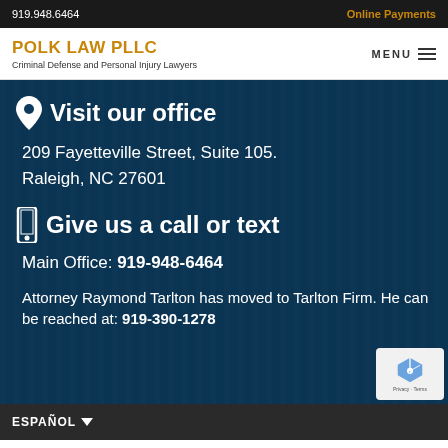919.948.6464 | Online Payments
POLK LAW PLLC
Criminal Defense and Personal Injury Lawyers
Visit our office
209 Fayetteville Street, Suite 105.
Raleigh, NC 27601
Give us a call or text
Main Office: 919-948-6464
Attorney Raymond Tarlton has moved to Tarlton Firm. He can be reached at: 919-390-1278
ESPAÑOL